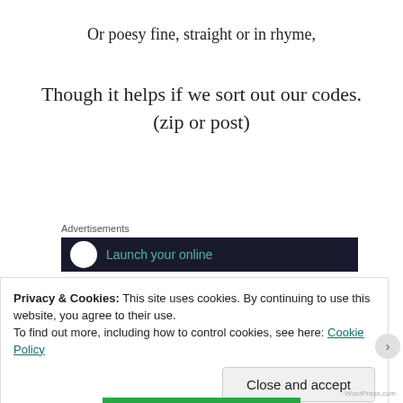Or poesy fine, straight or in rhyme,
Though it helps if we sort out our codes. (zip or post)
Advertisements
[Figure (screenshot): Dark advertisement banner with white circle and teal text reading 'Launch your online']
[Figure (screenshot): Dark advertisement banner with orange circle logo visible at bottom]
Privacy & Cookies: This site uses cookies. By continuing to use this website, you agree to their use.
To find out more, including how to control cookies, see here: Cookie Policy
Close and accept